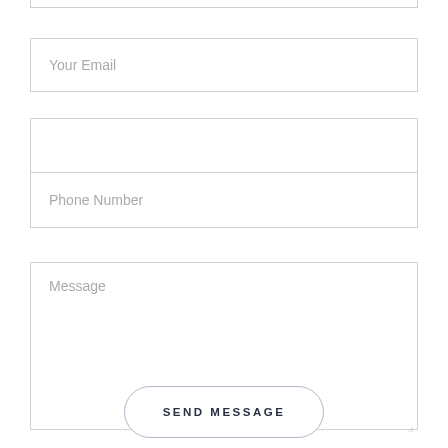[Figure (screenshot): Contact form with email input field, phone number field group with two sections, a large message textarea, and a SEND MESSAGE button with rounded border.]
Your Email
Phone Number
Message
SEND MESSAGE